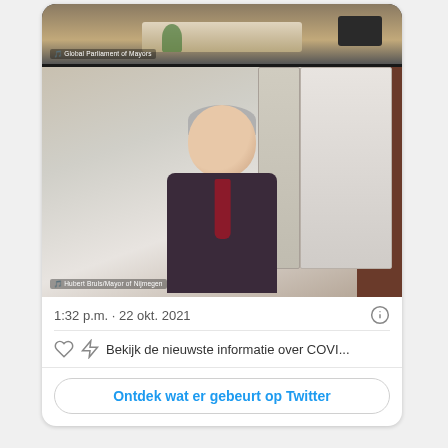[Figure (screenshot): Twitter/social media card screenshot showing a video call from Global Parliament of Mayors with two participants: a person at a desk at the top labeled 'Global Parliament of Mayors', and Hubert Bruls, Mayor of Nijmegen, in the main view below. Below the image: timestamp '1:32 p.m. · 22 okt. 2021', info icon, heart and zap icons, text 'Bekijk de nieuwste informatie over COVI...', and a button 'Ontdek wat er gebeurt op Twitter'.]
1:32 p.m. · 22 okt. 2021
Bekijk de nieuwste informatie over COVI...
Ontdek wat er gebeurt op Twitter